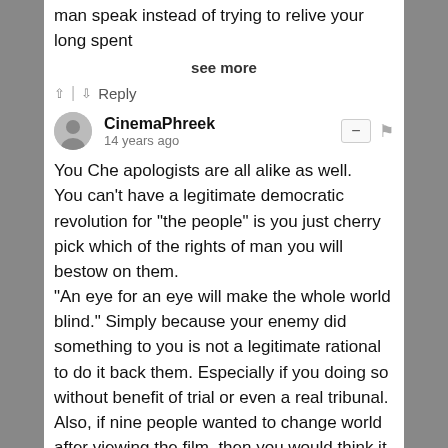man speak instead of trying to relive your long spent
see more
↑ | ↓  Reply
CinemaPhreek
14 years ago
You Che apologists are all alike as well.
You can't have a legitimate democratic revolution for "the people" is you just cherry pick which of the rights of man you will bestow on them.
"An eye for an eye will make the whole world blind." Simply because your enemy did something to you is not a legitimate rational to do it back them. Especially if you doing so without benefit of trial or even a real tribunal.
Also, if nine people wanted to change world after viewing the film, then you would think it should have been easy for nine people to award the Palme d'Or, Grand Prix or Prix du Jury to said film instead of the consolation "prix" of Prix d'interprétation masculine for del Toro.